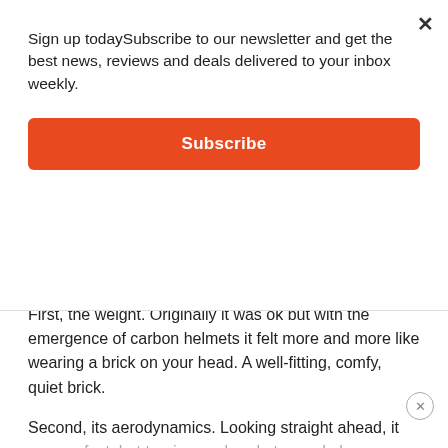Sign up todaySubscribe to our newsletter and get the best news, reviews and deals delivered to your inbox weekly.
Subscribe
But it had three issues that eventually made me happy to get rid of it and trade up to a different brand.
First, the weight. Originally it was ok but with the emergence of carbon helmets it felt more and more like wearing a brick on your head. A well-fitting, comfy, quiet brick.
Second, its aerodynamics. Looking straight ahead, it was perfect, but turning my head at speed always caused an unpleasant push to the side, from the oncoming air.